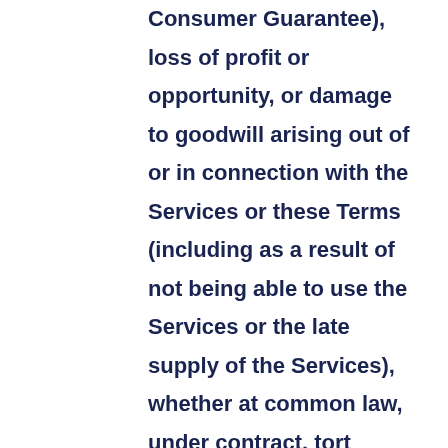Consumer Guarantee), loss of profit or opportunity, or damage to goodwill arising out of or in connection with the Services or these Terms (including as a result of not being able to use the Services or the late supply of the Services), whether at common law, under contract, tort (including negligence), in equity, pursuant to